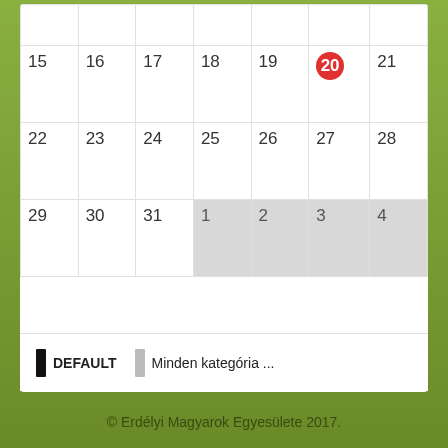[Figure (other): Monthly calendar grid showing days 15–31 and 1–4 of next month, with day 20 highlighted in red circle. Bottom row (1–4) is grayed out indicating next month.]
DEFAULT    Minden kategória ...
© Erdélyi Magyarok Egyesülete 2017.